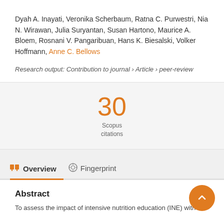Dyah A. Inayati, Veronika Scherbaum, Ratna C. Purwestri, Nia N. Wirawan, Julia Suryantan, Susan Hartono, Maurice A. Bloem, Rosnani V. Pangaribuan, Hans K. Biesalski, Volker Hoffmann, Anne C. Bellows
Research output: Contribution to journal › Article › peer-review
30 Scopus citations
Overview  Fingerprint
Abstract
To assess the impact of intensive nutrition education (INE) with